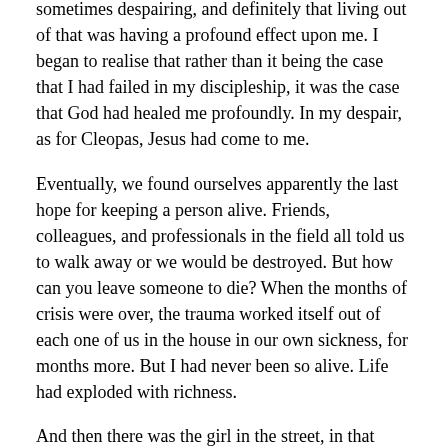sometimes despairing, and definitely that living out of that was having a profound effect upon me. I began to realise that rather than it being the case that I had failed in my discipleship, it was the case that God had healed me profoundly. In my despair, as for Cleopas, Jesus had come to me.
Eventually, we found ourselves apparently the last hope for keeping a person alive. Friends, colleagues, and professionals in the field all told us to walk away or we would be destroyed. But how can you leave someone to die? When the months of crisis were over, the trauma worked itself out of each one of us in the house in our own sickness, for months more. But I had never been so alive. Life had exploded with richness.
And then there was the girl in the street, in that freezing winter wind tunnel we call Grenfell Street, where the beggars sit because they get chased out of Rundle Mall. I will never forget her, or my failure